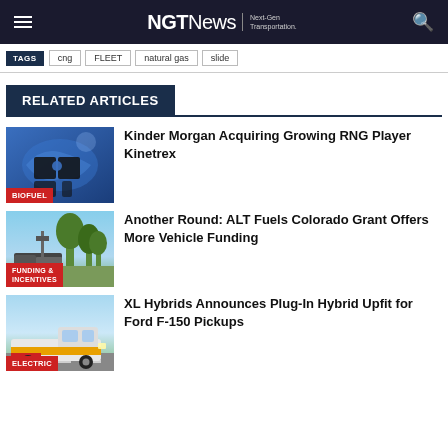NGT News | Next-Gen Transportation.
TAGS  cng  FLEET  natural gas  slide
RELATED ARTICLES
[Figure (illustration): Puzzle pieces silhouette with blue world map background, BIOFUEL badge]
Kinder Morgan Acquiring Growing RNG Player Kinetrex
[Figure (photo): Utility truck or vehicle near tree line, FUNDING & INCENTIVES badge]
Another Round: ALT Fuels Colorado Grant Offers More Vehicle Funding
[Figure (photo): White and yellow pickup truck on road, ELECTRIC badge]
XL Hybrids Announces Plug-In Hybrid Upfit for Ford F-150 Pickups